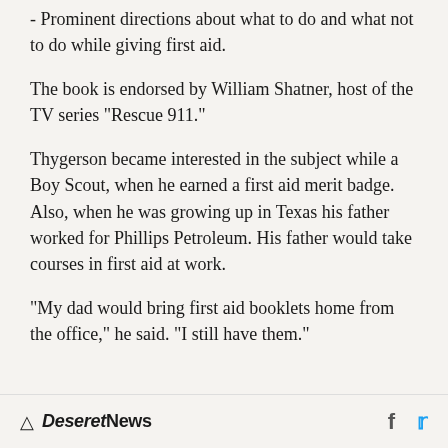- Prominent directions about what to do and what not to do while giving first aid.
The book is endorsed by William Shatner, host of the TV series "Rescue 911."
Thygerson became interested in the subject while a Boy Scout, when he earned a first aid merit badge. Also, when he was growing up in Texas his father worked for Phillips Petroleum. His father would take courses in first aid at work.
"My dad would bring first aid booklets home from the office," he said. "I still have them."
Deseret News